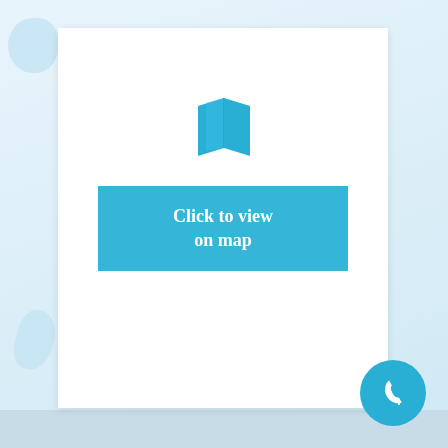[Figure (illustration): Open book / map icon in cyan/blue color]
Click to view on map
[Figure (illustration): Blue circle with a white telephone/call icon]